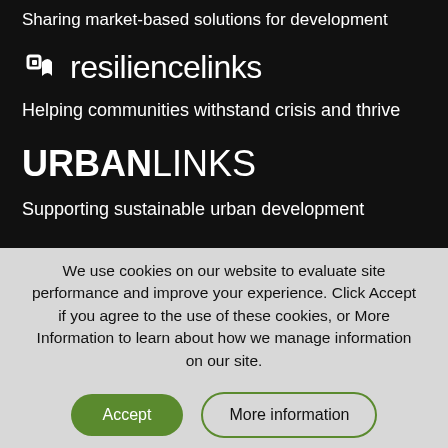Sharing market-based solutions for development
[Figure (logo): resiliencelinks logo with icon]
Helping communities withstand crisis and thrive
[Figure (logo): URBANLINKS logo]
Supporting sustainable urban development
We use cookies on our website to evaluate site performance and improve your experience. Click Accept if you agree to the use of these cookies, or More Information to learn about how we manage information on our site.